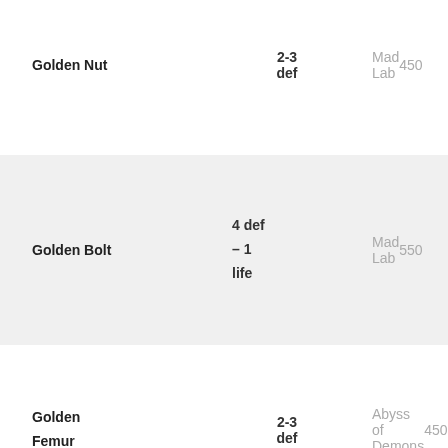| Item | Stats | Location | Cost |
| --- | --- | --- | --- |
| Golden Nut | 2-3 def | Mad Lab | 450 |
| Golden Bolt | 4 def – 1 life | Mad Lab | 550 |
| Golden Femur | 2-3 def | Abyss of Demons | 450 |